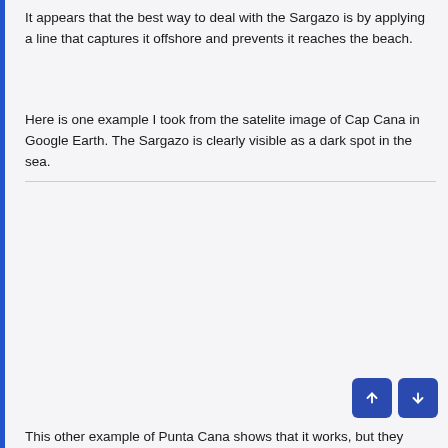It appears that the best way to deal with the Sargazo is by applying a line that captures it offshore and prevents it reaches the beach.
Here is one example I took from the satelite image of Cap Cana in Google Earth. The Sargazo is clearly visible as a dark spot in the sea.
[Figure (photo): Satellite image of Cap Cana from Google Earth showing Sargazo as a dark spot in the sea (image content not visible in this view).]
This other example of Punta Cana shows that it works, but they